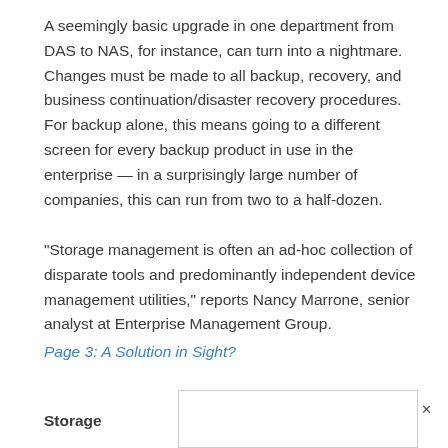A seemingly basic upgrade in one department from DAS to NAS, for instance, can turn into a nightmare. Changes must be made to all backup, recovery, and business continuation/disaster recovery procedures. For backup alone, this means going to a different screen for every backup product in use in the enterprise — in a surprisingly large number of companies, this can run from two to a half-dozen.
“Storage management is often an ad-hoc collection of disparate tools and predominantly independent device management utilities,” reports Nancy Marrone, senior analyst at Enterprise Management Group.
Page 3: A Solution in Sight?
Storage